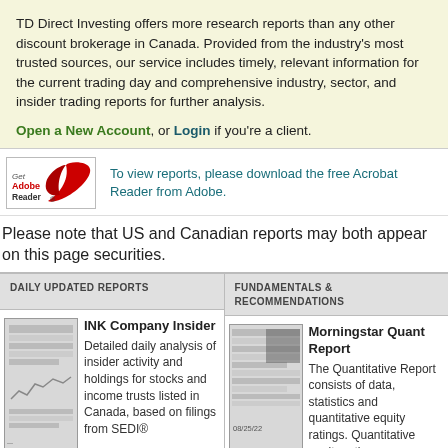TD Direct Investing offers more research reports than any other discount brokerage in Canada. Provided from the industry's most trusted sources, our service includes timely, relevant information for the current trading day and comprehensive industry, sector, and insider trading reports for further analysis.
Open a New Account, or Login if you're a client.
[Figure (logo): Get Adobe Reader logo with red swoosh icon]
To view reports, please download the free Acrobat Reader from Adobe.
Please note that US and Canadian reports may both appear on this page securities.
DAILY UPDATED REPORTS
FUNDAMENTALS & RECOMMENDATIONS
[Figure (illustration): Thumbnail image of INK Company Insider report]
INK Company Insider
Detailed daily analysis of insider activity and holdings for stocks and income trusts listed in Canada, based on filings from SEDI®
[Figure (illustration): Thumbnail image of Morningstar Quant Report dated 08/25/22]
Morningstar Quant Report
The Quantitative Report consists of data, statistics and quantitative equity ratings. Quantitative equity ratings are forward looking and